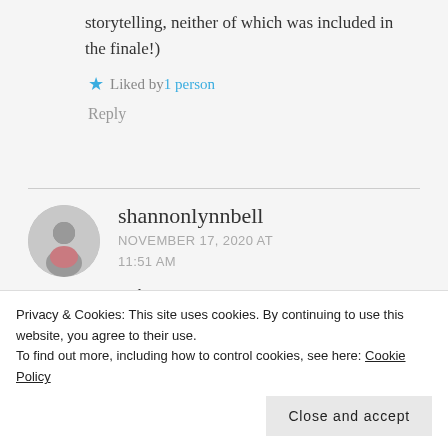storytelling, neither of which was included in the finale!)
Liked by 1 person
Reply
shannonlynnbell
NOVEMBER 17, 2020 AT 11:51 AM
Haha so TRUE re: Gossip
Privacy & Cookies: This site uses cookies. By continuing to use this website, you agree to their use. To find out more, including how to control cookies, see here: Cookie Policy
Close and accept